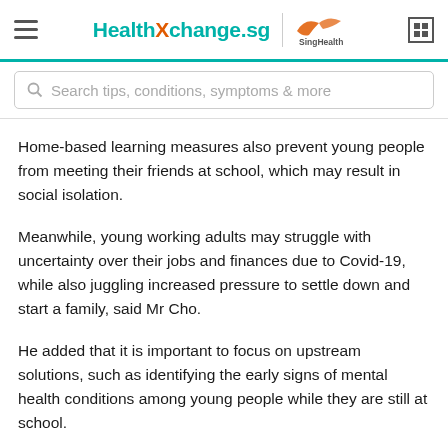HealthXchange.sg | SingHealth
Home-based learning measures also prevent young people from meeting their friends at school, which may result in social isolation.
Meanwhile, young working adults may struggle with uncertainty over their jobs and finances due to Covid-19, while also juggling increased pressure to settle down and start a family, said Mr Cho.
He added that it is important to focus on upstream solutions, such as identifying the early signs of mental health conditions among young people while they are still at school.
This will help prevent the spiralling down to more severe mental health conditions for young people.